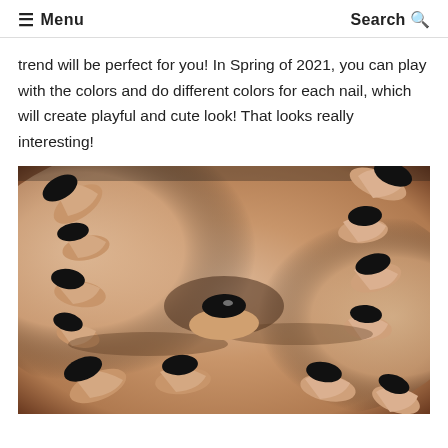≡ Menu    Search 🔍
trend will be perfect for you! In Spring of 2021, you can play with the colors and do different colors for each nail, which will create playful and cute look! That looks really interesting!
[Figure (photo): Close-up photo of two hands with black French tip nail polish (black tips on natural/nude nails) covering a person's eyes/face area, showing multiple fingers from both hands layered over each other.]